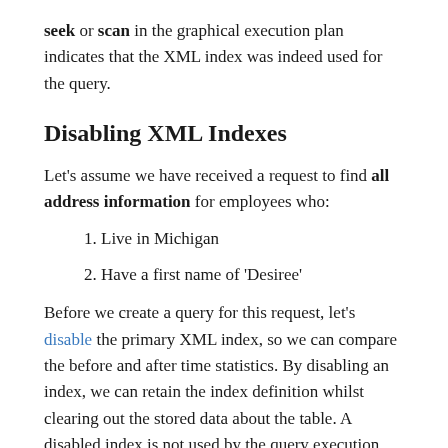seek or scan in the graphical execution plan indicates that the XML index was indeed used for the query.
Disabling XML Indexes
Let's assume we have received a request to find all address information for employees who:
1. Live in Michigan
2. Have a first name of 'Desiree'
Before we create a query for this request, let's disable the primary XML index, so we can compare the before and after time statistics. By disabling an index, we can retain the index definition whilst clearing out the stored data about the table. A disabled index is not used by the query execution